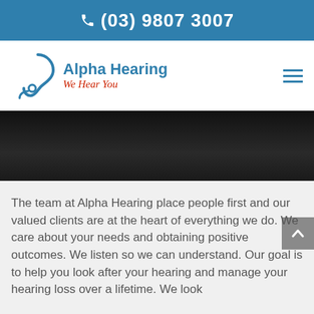(03) 9807 3007
[Figure (logo): Alpha Hearing logo with ear icon and tagline 'We Hear You' in red cursive]
[Figure (photo): Dark/black hero banner image strip]
The team at Alpha Hearing place people first and our valued clients are at the heart of everything we do. We care about your needs and obtaining positive outcomes. We listen so we can understand. Our goal is to help you look after your hearing and manage your hearing loss over a lifetime. We look